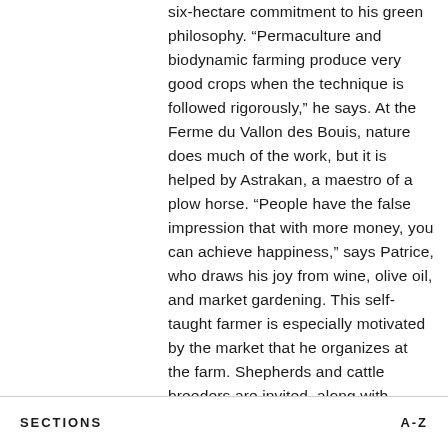six-hectare commitment to his green philosophy. “Permaculture and biodynamic farming produce very good crops when the technique is followed rigorously,” he says. At the Ferme du Vallon des Bouis, nature does much of the work, but it is helped by Astrakan, a maestro of a plow horse. “People have the false impression that with more money, you can achieve happiness,” says Patrice, who draws his joy from wine, olive oil, and market gardening. This self-taught farmer is especially motivated by the market that he organizes at the farm. Shepherds and cattle breeders are invited, along with artisans such as Loïc de Saleneuve, a farmer and cheesemaker. Patrice makes wine but doesn’t place too much emphasis
SECTIONS    A-Z